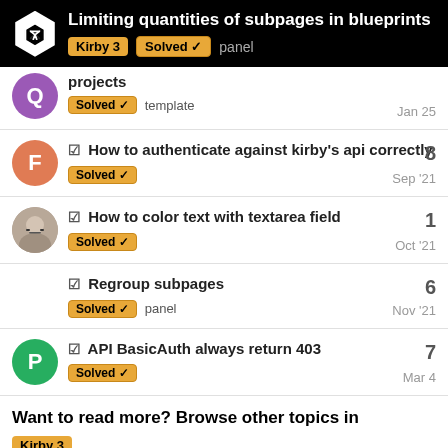Limiting quantities of subpages in blueprints — Kirby 3 | Solved | panel
projects — Solved, template — Jan 25
☑ How to authenticate against kirby's api correctly — Solved — Sep '21 — 8 replies
☑ How to color text with textarea field — Solved — Oct '21 — 1 reply
☑ Regroup subpages — Solved, panel — Nov '21 — 6 replies
☑ API BasicAuth always return 403 — Solved — Mar 4 — 7 replies
Want to read more? Browse other topics in